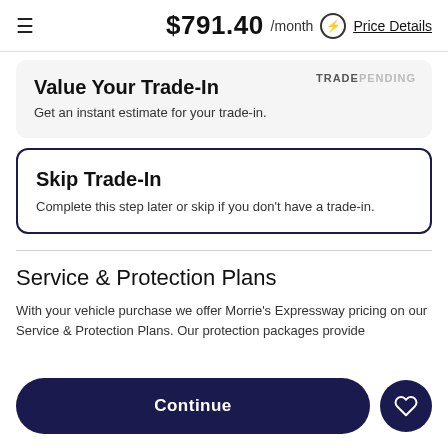$791.40 /month ⚡ Price Details
Value Your Trade-In
Get an instant estimate for your trade-in.
Skip Trade-In
Complete this step later or skip if you don't have a trade-in.
Service & Protection Plans
With your vehicle purchase we offer Morrie's Expressway pricing on our Service & Protection Plans. Our protection packages provide